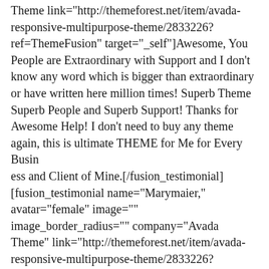Theme link="http://themeforest.net/item/avada-responsive-multipurpose-theme/2833226?ref=ThemeFusion" target="_self"]Awesome, You People are Extraordinary with Support and I don't know any word which is bigger than extraordinary or have written here million times! Superb Theme Superb People and Superb Support! Thanks for Awesome Help! I don't need to buy any theme again, this is ultimate THEME for Me for Every Busin
ess and Client of Mine.[/fusion_testimonial]
[fusion_testimonial name="Marymaier," avatar="female" image="" image_border_radius="" company="Avada Theme" link="http://themeforest.net/item/avada-responsive-multipurpose-theme/2833226?ref=ThemeFusion" target="_self"]This theme is GREAT. I have tried to work with other themes in the past and always run into bugs, but not with Avada! It is very easy to customize the theme to suit your site without any code knowledge. The most finely polish...